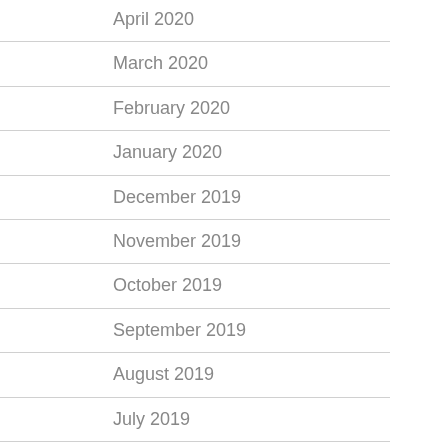April 2020
March 2020
February 2020
January 2020
December 2019
November 2019
October 2019
September 2019
August 2019
July 2019
June 2019
May 2019